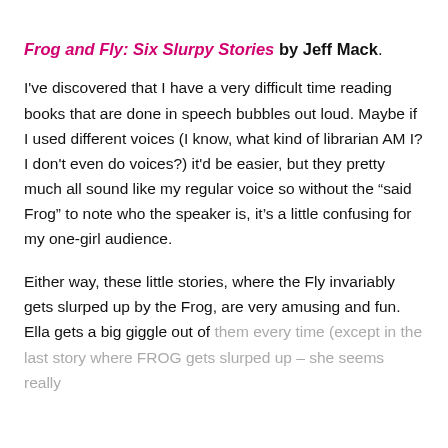Frog and Fly: Six Slurpy Stories by Jeff Mack. I've discovered that I have a very difficult time reading books that are done in speech bubbles out loud. Maybe if I used different voices (I know, what kind of librarian AM I? I don't even do voices?) it'd be easier, but they pretty much all sound like my regular voice so without the “said Frog” to note who the speaker is, it’s a little confusing for my one-girl audience.

Either way, these little stories, where the Fly invariably gets slurped up by the Frog, are very amusing and fun. Ella gets a big giggle out of them every time (except in the last story where FROG gets slurped up – she seems really